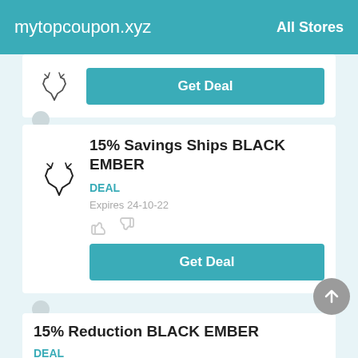mytopcoupon.xyz   All Stores
[Figure (logo): Partial antler/branch logo for store]
Get Deal
15% Savings Ships BLACK EMBER
DEAL
Expires 24-10-22
Get Deal
15% Reduction BLACK EMBER
DEAL